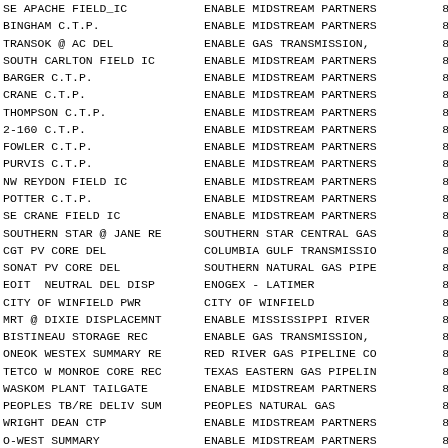| Location | Counterparty | Code |
| --- | --- | --- |
| SE APACHE FIELD_IC | ENABLE MIDSTREAM PARTNERS | 804 |
| BINGHAM C.T.P. | ENABLE MIDSTREAM PARTNERS | 804 |
| TRANSOK @ AC DEL | ENABLE GAS TRANSMISSION, | 804 |
| SOUTH CARLTON FIELD IC | ENABLE MIDSTREAM PARTNERS | 804 |
| BARGER C.T.P. | ENABLE MIDSTREAM PARTNERS | 804 |
| CRANE C.T.P. | ENABLE MIDSTREAM PARTNERS | 804 |
| THOMPSON C.T.P. | ENABLE MIDSTREAM PARTNERS | 805 |
| 2-160 C.T.P. | ENABLE MIDSTREAM PARTNERS | 805 |
| FOWLER C.T.P. | ENABLE MIDSTREAM PARTNERS | 805 |
| PURVIS C.T.P. | ENABLE MIDSTREAM PARTNERS | 805 |
| NW REYDON FIELD IC | ENABLE MIDSTREAM PARTNERS | 805 |
| POTTER C.T.P. | ENABLE MIDSTREAM PARTNERS | 805 |
| SE CRANE FIELD IC | ENABLE MIDSTREAM PARTNERS | 805 |
| SOUTHERN STAR @ JANE RE | SOUTHERN STAR CENTRAL GAS | 805 |
| CGT PV CORE DEL | COLUMBIA GULF TRANSMISSIO | 805 |
| SONAT PV CORE DEL | SOUTHERN NATURAL GAS PIPE | 805 |
| EOIT  NEUTRAL DEL DISP | ENOGEX - LATIMER | 805 |
| CITY OF WINFIELD PWR | CITY OF WINFIELD | 805 |
| MRT @ DIXIE DISPLACEMNT | ENABLE MISSISSIPPI RIVER | 805 |
| BISTINEAU STORAGE REC | ENABLE GAS TRANSMISSION, | 805 |
| ONEOK WESTEX SUMMARY RE | RED RIVER GAS PIPELINE CO | 805 |
| TETCO W MONROE CORE REC | TEXAS EASTERN GAS PIPELIN | 805 |
| WASKOM PLANT TAILGATE | ENABLE MIDSTREAM PARTNERS | 805 |
| PEOPLES TB/RE DELIV SUM | PEOPLES NATURAL GAS | 805 |
| WRIGHT DEAN CTP | ENABLE MIDSTREAM PARTNERS | 805 |
| O-WEST SUMMARY | ENABLE MIDSTREAM PARTNERS | 805 |
| AOG @ CHISMVILLE | ARKANSAS OKLAHOMA GAS COR | 805 |
| TEMPLE INLAND ELDORADO | ENABLE GAS TRANSMISSION, | 805 |
| LANXESS SOL CENTRAL PLT | GREAT LAKES CHEMICAL CORP | 805 |
| BLACK HILLS TO CLARKSVI | BLACK HILLS ENERGY ARKANS | 805 |